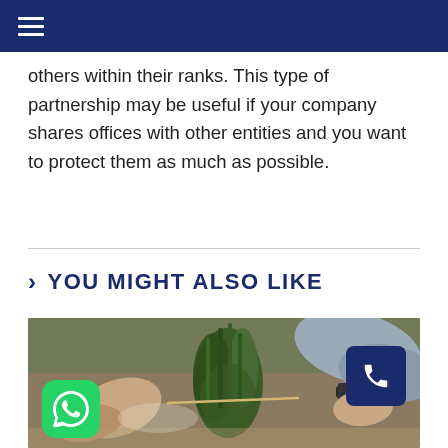others within their ranks. This type of partnership may be useful if your company shares offices with other entities and you want to protect them as much as possible.
YOU MIGHT ALSO LIKE
[Figure (photo): Two people's hands working with green plants/flowers on a table, wrapping or tying bouquet with string. A person in a grey sweater with a watch visible on the right, and another person on the left. Brown paper background.]